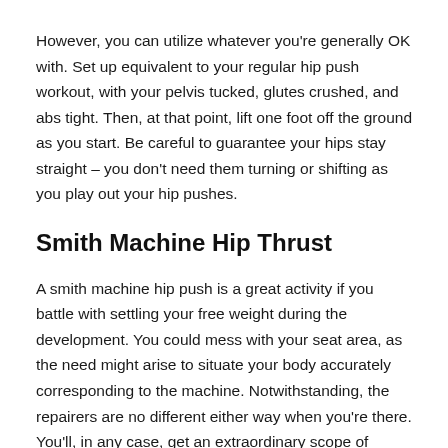However, you can utilize whatever you're generally OK with. Set up equivalent to your regular hip push workout, with your pelvis tucked, glutes crushed, and abs tight. Then, at that point, lift one foot off the ground as you start. Be careful to guarantee your hips stay straight – you don't need them turning or shifting as you play out your hip pushes.
Smith Machine Hip Thrust
A smith machine hip push is a great activity if you battle with settling your free weight during the development. You could mess with your seat area, as the need might arise to situate your body accurately corresponding to the machine. Notwithstanding, the repairers are no different either way when you're there. You'll, in any case, get an extraordinary scope of movement and may try and have the option to over-load, as you'd presumably sit beneath the need to adjust the